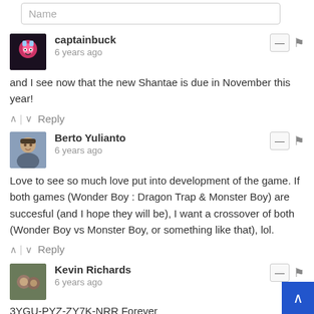Name
captainbuck
6 years ago
and I see now that the new Shantae is due in November this year!
Berto Yulianto
6 years ago
Love to see so much love put into development of the game. If both games (Wonder Boy : Dragon Trap & Monster Boy) are succesful (and I hope they will be), I want a crossover of both (Wonder Boy vs Monster Boy, or something like that), lol.
Kevin Richards
6 years ago
3YGU-PYZ-ZY7K-NRR Forever